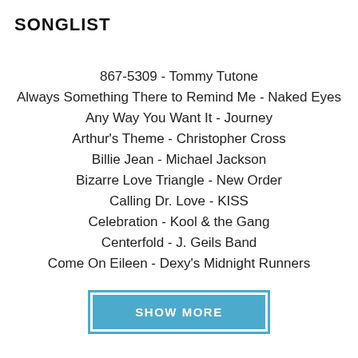SONGLIST
867-5309 - Tommy Tutone
Always Something There to Remind Me - Naked Eyes
Any Way You Want It - Journey
Arthur's Theme - Christopher Cross
Billie Jean - Michael Jackson
Bizarre Love Triangle - New Order
Calling Dr. Love - KISS
Celebration - Kool & the Gang
Centerfold - J. Geils Band
Come On Eileen - Dexy's Midnight Runners
SHOW MORE